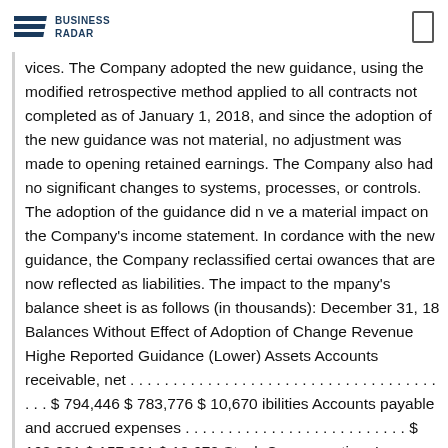BUSINESS RADAR
vices. The Company adopted the new guidance, using the modified retrospective method applied to all contracts not completed as of January 1, 2018, and since the adoption of the new guidance was not material, no adjustment was made to opening retained earnings. The Company also had no significant changes to systems, processes, or controls. The adoption of the guidance did not have a material impact on the Company's income statement. In accordance with the new guidance, the Company reclassified certain allowances that are now reflected as liabilities. The impact to the Company's balance sheet is as follows (in thousands): December 31, 2018 Balances Without Effect of Adoption of Change Revenue Higher Reported Guidance (Lower) Assets Accounts receivable, net . . . . . . . . . . . . . . . . . . . . . . . . . . . . . . . . . . . . . . $ 794,446 $ 783,776 $ 10,670 Liabilities Accounts payable and accrued expenses . . . . . . . . . . . . . . . . . . . . . . . . . $ 168,031 $ 157,361 $ 10,670 Stock Compensation. In May 2017, the FASB issued authoritative guidance updating which changes in the terms or conditions of a share-based payment award